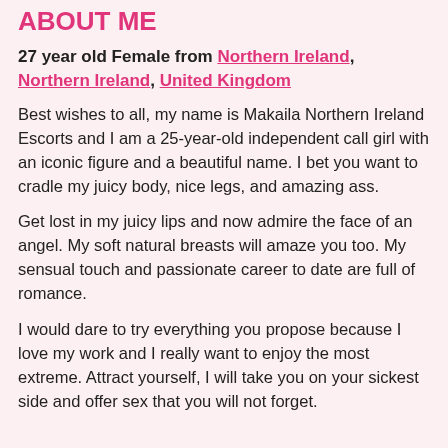ABOUT ME
27 year old Female from Northern Ireland, Northern Ireland, United Kingdom
Best wishes to all, my name is Makaila Northern Ireland Escorts and I am a 25-year-old independent call girl with an iconic figure and a beautiful name. I bet you want to cradle my juicy body, nice legs, and amazing ass.
Get lost in my juicy lips and now admire the face of an angel. My soft natural breasts will amaze you too. My sensual touch and passionate career to date are full of romance.
I would dare to try everything you propose because I love my work and I really want to enjoy the most extreme. Attract yourself, I will take you on your sickest side and offer sex that you will not forget.